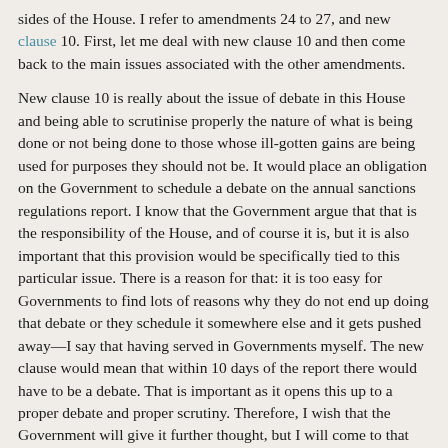sides of the House. I refer to amendments 24 to 27, and new clause 10. First, let me deal with new clause 10 and then come back to the main issues associated with the other amendments.
New clause 10 is really about the issue of debate in this House and being able to scrutinise properly the nature of what is being done or not being done to those whose ill-gotten gains are being used for purposes they should not be. It would place an obligation on the Government to schedule a debate on the annual sanctions regulations report. I know that the Government argue that that is the responsibility of the House, and of course it is, but it is also important that this provision would be specifically tied to this particular issue. There is a reason for that: it is too easy for Governments to find lots of reasons why they do not end up doing that debate or they schedule it somewhere else and it gets pushed away—I say that having served in Governments myself. The new clause would mean that within 10 days of the report there would have to be a debate. That is important as it opens this up to a proper debate and proper scrutiny. Therefore, I wish that the Government will give it further thought, but I will come to that later on, if necessary.
I return to the key area where I and others have tabled amendments. Amendments 24 to 27 are linked and consequential, but, crucially, they are linked to clause 31. Like others, I had concerns about that clause because it seemed to leave a back door open to any enabler to avoid